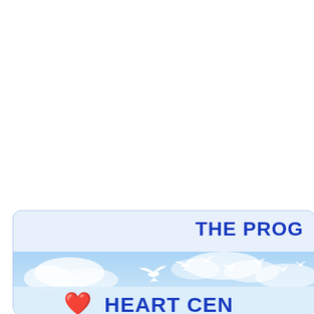[Figure (illustration): A rounded-corner card/box with light blue background and border, containing the partial title text 'THE PROG' (cropped) in bold dark blue at top right, and below that an image strip showing a sky background with white doves flying, a red heart emoji, and partial text 'HEART CEN' in bold dark blue.]